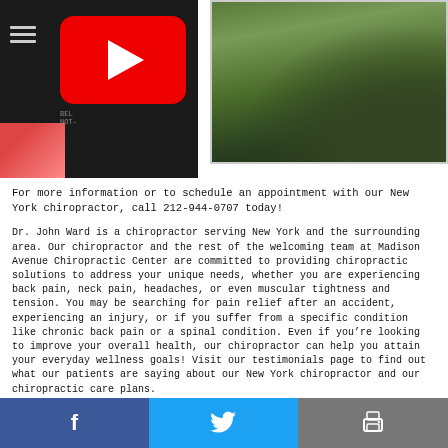[Figure (screenshot): YouTube video thumbnail on left with red play button, and a landscape mountain photo on the right]
For more information or to schedule an appointment with our New York chiropractor, call 212-944-0707 today!
Dr. John Ward is a chiropractor serving New York and the surrounding area. Our chiropractor and the rest of the welcoming team at Madison Avenue Chiropractic Center are committed to providing chiropractic solutions to address your unique needs, whether you are experiencing back pain, neck pain, headaches, or even muscular tightness and tension. You may be searching for pain relief after an accident, experiencing an injury, or if you suffer from a specific condition like chronic back pain or a spinal condition. Even if you’re looking to improve your overall health, our chiropractor can help you attain your everyday wellness goals! Visit our testimonials page to find out what our patients are saying about our New York chiropractor and our chiropractic care plans.
Facebook | Twitter | Print